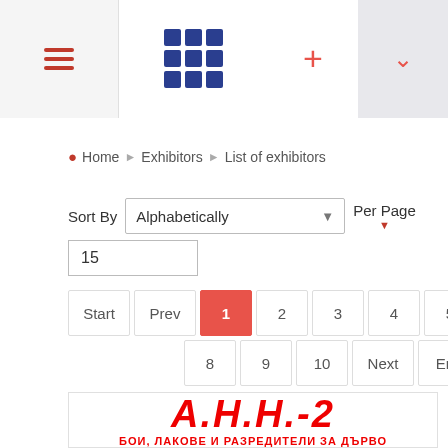[Figure (screenshot): Navigation bar with hamburger menu icon on the left, blue grid/app icon in the center, red plus icon and red chevron dropdown on the right]
Home ▶ Exhibitors ▶ List of exhibitors
Sort By Alphabetically Per Page 15
Start Prev 1 2 3 4 5 6 7 8 9 10 Next End
[Figure (logo): А.Н.Н.-2 logo in bold red italic text with subtitle БОИ, ЛАКОВЕ И РАЗРЕДИТЕЛИ ЗА ДЪРВО]